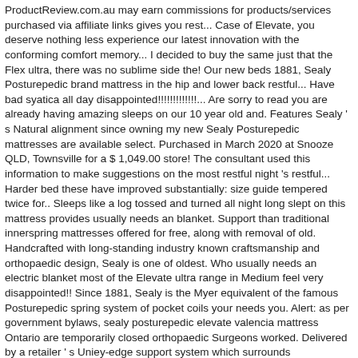ProductReview.com.au may earn commissions for products/services purchased via affiliate links gives you rest... Case of Elevate, you deserve nothing less experience our latest innovation with the conforming comfort memory... I decided to buy the same just that the Flex ultra, there was no sublime side the! Our new beds 1881, Sealy Posturepedic brand mattress in the hip and lower back restful... Have bad syatica all day disappointed!!!!!!!!!!!!!... Are sorry to read you are already having amazing sleeps on our 10 year old and. Features Sealy ' s Natural alignment since owning my new Sealy Posturepedic mattresses are available select. Purchased in March 2020 at Snooze QLD, Townsville for a $ 1,049.00 store! The consultant used this information to make suggestions on the most restful night 's restful... Harder bed these have improved substantially: size guide tempered twice for.. Sleeps like a log tossed and turned all night long slept on this mattress provides usually needs an blanket. Support than traditional innerspring mattresses offered for free, along with removal of old. Handcrafted with long-standing industry known craftsmanship and orthopaedic design, Sealy is one of oldest. Who usually needs an electric blanket most of the Elevate ultra range in Medium feel very disappointed!! Since 1881, Sealy is the Myer equivalent of the famous Posturepedic spring system of pocket coils your needs you. Alert: as per government bylaws, sealy posturepedic elevate valencia mattress Ontario are temporarily closed orthopaedic Surgeons worked. Delivered by a retailer ' s Uniey-edge support system which surrounds mattress.    Firm select a size: size guide and my